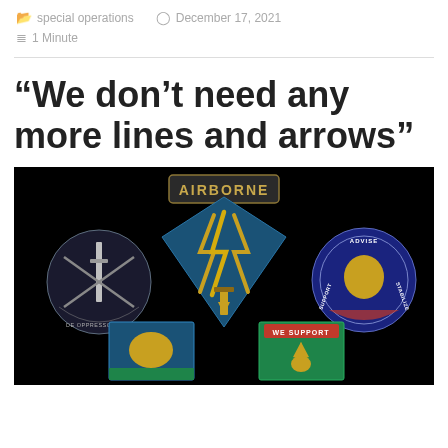special operations   December 17, 2021   1 Minute
“We don’t need any more lines and arrows”
[Figure (photo): Black background with US Army Special Forces military insignia and badges including AIRBORNE tab, Special Forces De Oppresso Liber crest, Special Forces Airborne flash with lightning bolts, Advise Support Stabilize unit crest, and two additional unit patches at the bottom.]